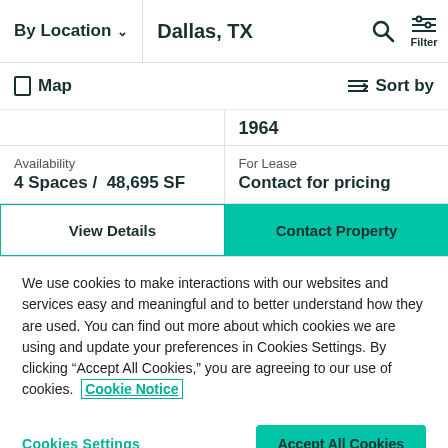By Location  Dallas, TX  Filter
Map  Sort by
1964
Availability
4 Spaces /  48,695 SF
For Lease
Contact for pricing
View Details
Contact Property
We use cookies to make interactions with our websites and services easy and meaningful and to better understand how they are used. You can find out more about which cookies we are using and update your preferences in Cookies Settings. By clicking “Accept All Cookies,” you are agreeing to our use of cookies.  Cookie Notice
Cookies Settings
Accept All Cookies